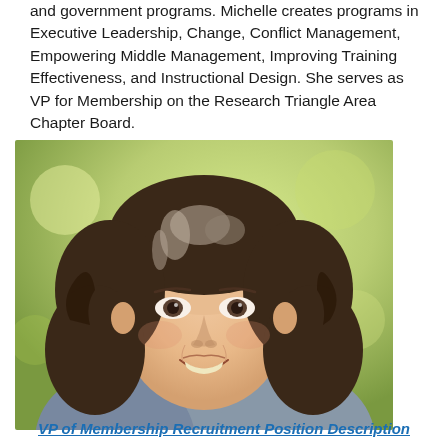and government programs. Michelle creates programs in Executive Leadership, Change, Conflict Management, Empowering Middle Management, Improving Training Effectiveness, and Instructional Design. She serves as VP for Membership on the Research Triangle Area Chapter Board.
[Figure (photo): Professional headshot of a woman with curly dark hair streaked with gray, smiling warmly, shown against a soft outdoor background with green and yellow tones.]
VP of Membership Recruitment Position Description